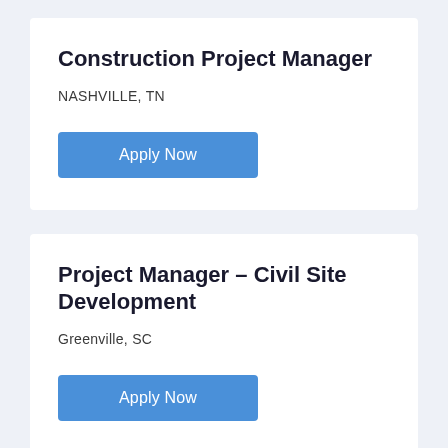Construction Project Manager
NASHVILLE, TN
Apply Now
Project Manager – Civil Site Development
Greenville, SC
Apply Now